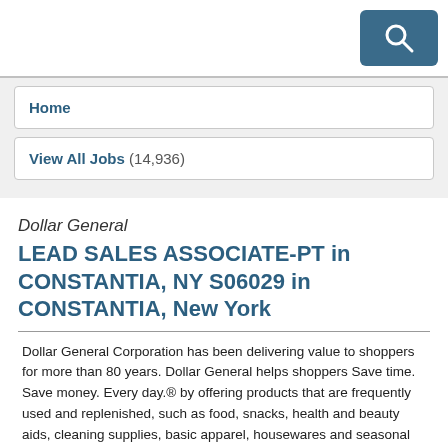Home
View All Jobs (14,936)
Dollar General
LEAD SALES ASSOCIATE-PT in CONSTANTIA, NY S06029 in CONSTANTIA, New York
Dollar General Corporation has been delivering value to shoppers for more than 80 years. Dollar General helps shoppers Save time. Save money. Every day.® by offering products that are frequently used and replenished, such as food, snacks, health and beauty aids, cleaning supplies, basic apparel, housewares and seasonal items at everyday low prices in convenient neighborhood locations. Dollar General operates more than 18,000 stores in 47 states, and we're still growing. Learn more about Dollar General at